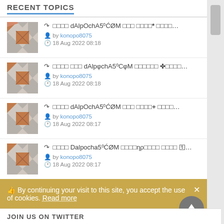RECENT TOPICS
↷ □□□□ dAlpOchA5⁰ĆØM □□□ □□□□* □□□□... by konopo8075 · 18 Aug 2022 08:18
↷ □□□□ □□□ dAlpφchA5⁰CφM □□□□□□ ✤□□□□... by konopo8075 · 18 Aug 2022 08:18
↷ □□□□ dAlpOchA5⁰ĆØM □□□ □□□□+ □□□□... by konopo8075 · 18 Aug 2022 08:17
↷ □□□□ Dalpocha5⁰ĆØM □□□□ηρ□□□□ □□□□ ⚿... by konopo8075 · 18 Aug 2022 08:17
↷ □□□□ DaLpocha5⁰ĆØM □□□□✦□□□□Υ□□□□□ □... by konopo8075 · 18 Aug 2022 08:16
By continuing your visit to this site, you accept the use of cookies. Read more
JOIN US ON TWITTER